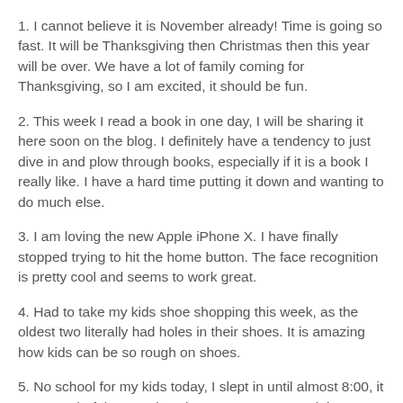1. I cannot believe it is November already!  Time is going so fast.  It will be Thanksgiving then Christmas then this year will be over.  We have a lot of family coming for Thanksgiving, so I am excited, it should be fun.
2. This week I read a book in one day, I will be sharing it here soon on the blog.  I definitely have a tendency to just dive in and plow through books, especially if it is a book I really like.  I have a hard time putting it down and wanting to do much else.
3. I am loving the new Apple iPhone X.  I have finally stopped trying to hit the home button.  The face recognition is pretty cool and seems to work great.
4. Had to take my kids shoe shopping this week, as the oldest two literally had holes in their shoes.  It is amazing how kids can be so rough on shoes.
5. No school for my kids today, I slept in until almost 8:00, it was wonderful.  Lucas is going on a campout tonight, so